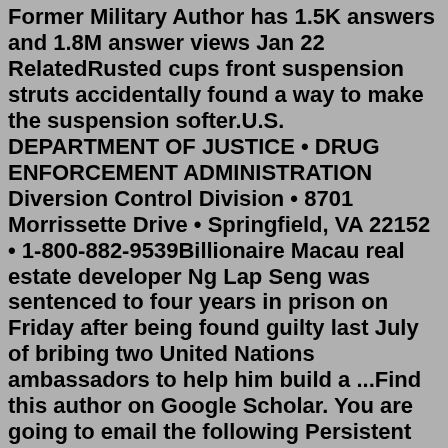Former Military Author has 1.5K answers and 1.8M answer views Jan 22 RelatedRusted cups front suspension struts accidentally found a way to make the suspension softer.U.S. DEPARTMENT OF JUSTICE • DRUG ENFORCEMENT ADMINISTRATION Diversion Control Division • 8701 Morrissette Drive • Springfield, VA 22152 • 1-800-882-9539Billionaire Macau real estate developer Ng Lap Seng was sentenced to four years in prison on Friday after being found guilty last July of bribing two United Nations ambassadors to help him build a ...Find this author on Google Scholar. You are going to email the following Persistent Left Superior Vena Cava - Accidental Finding.This prevents you from accidentally disclosing passwords and the like via the log. (Bourne shell set +x, or Windows batch @echo off, blocks secrets from being displayed in echoed commands; but build...2. She accidentally swallowed a glass bead. 3. He accidentally sawed through a cable. 4. She accidentally erased the tape. 5. He accidentally trod on her foot.ASCII Table. ASCII